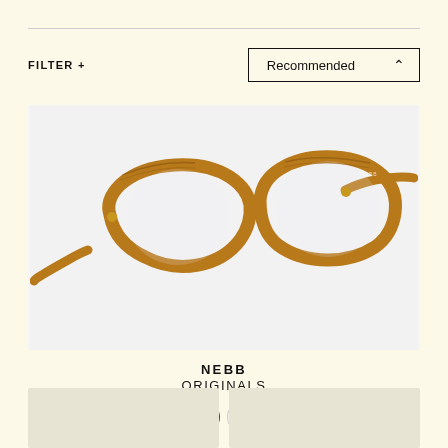FILTER +
Recommended
[Figure (photo): Amber/honey colored rectangular acetate eyeglasses frame (NEBB Originals) photographed at a 3/4 angle on a light grey background.]
NEBB
ORIGINALS
< [amber swatch selected] [charcoal swatch] [cream swatch] [burgundy swatch] >
[Figure (photo): Partial product thumbnail bottom-left]
[Figure (photo): Partial product thumbnail bottom-right]